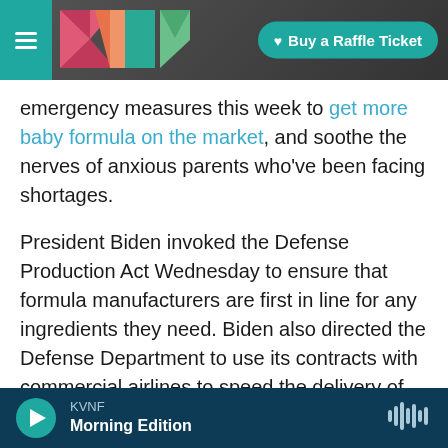KVNF | Buy a Raffle Ticket
emergency measures this week to get more baby formula on the market, and soothe the nerves of anxious parents who've been facing shortages.
President Biden invoked the Defense Production Act Wednesday to ensure that formula manufacturers are first in line for any ingredients they need. Biden also directed the Defense Department to use its contracts with commercial airlines to speed the delivery of formula from overseas.
Formula has been hard to find in some parts of the
KVNF Morning Edition